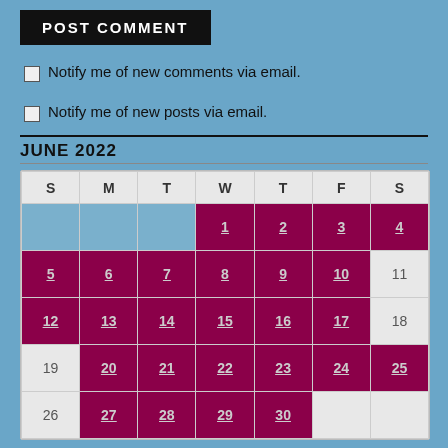POST COMMENT
Notify me of new comments via email.
Notify me of new posts via email.
JUNE 2022
| S | M | T | W | T | F | S |
| --- | --- | --- | --- | --- | --- | --- |
|  |  |  | 1 | 2 | 3 | 4 |
| 5 | 6 | 7 | 8 | 9 | 10 | 11 |
| 12 | 13 | 14 | 15 | 16 | 17 | 18 |
| 19 | 20 | 21 | 22 | 23 | 24 | 25 |
| 26 | 27 | 28 | 29 | 30 |  |  |
« May   Jul »